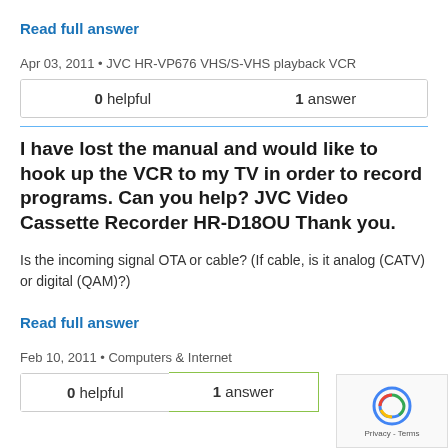Read full answer
Apr 03, 2011 • JVC HR-VP676 VHS/S-VHS playback VCR
| 0 helpful | 1 answer |
| --- | --- |
I have lost the manual and would like to hook up the VCR to my TV in order to record programs. Can you help? JVC Video Cassette Recorder HR-D18OU Thank you.
Is the incoming signal OTA or cable? (If cable, is it analog (CATV) or digital (QAM)?)
Read full answer
Feb 10, 2011 • Computers & Internet
| 0 helpful | 1 answer |
| --- | --- |